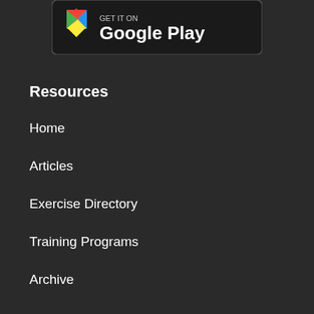[Figure (logo): Google Play store badge/banner with colorful Play triangle logo and 'Google Play' text on dark background]
Resources
Home
Articles
Exercise Directory
Training Programs
Archive